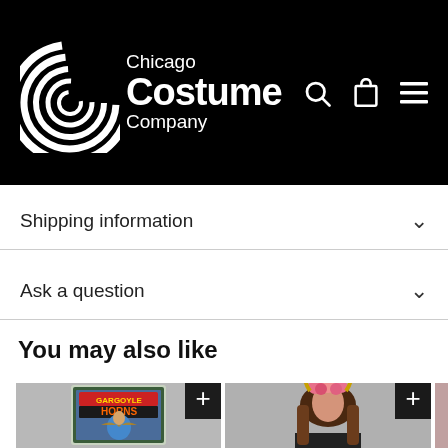[Figure (logo): Chicago Costume Company logo with concentric C circles on black background header, with search, cart, and menu icons]
Shipping information
Ask a question
You may also like
[Figure (photo): Product card showing Gargoyle Horns costume accessory in blister packaging with + button]
[Figure (photo): Product card showing woman wearing floral crown with gold horns headband with + button]
[Figure (photo): Partial product card on right edge]